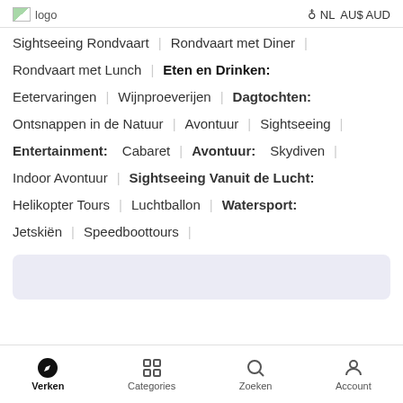logo  NL  AU$ AUD
Sightseeing Rondvaart | Rondvaart met Diner
Rondvaart met Lunch | Eten en Drinken:
Eetervaringen | Wijnproeverijen | Dagtochten:
Ontsnappen in de Natuur | Avontuur | Sightseeing
Entertainment: Cabaret | Avontuur: Skydiven
Indoor Avontuur | Sightseeing Vanuit de Lucht:
Helikopter Tours | Luchtballon | Watersport:
Jetskiën | Speedboottours
Verken  Categories  Zoeken  Account